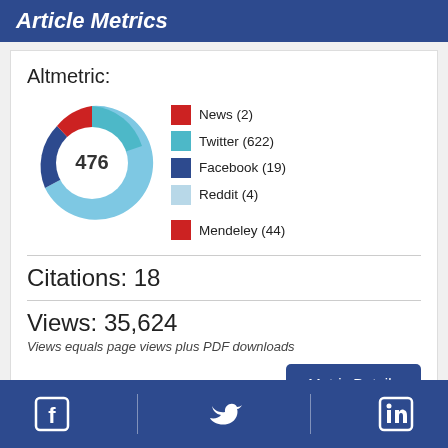Article Metrics
Altmetric:
[Figure (donut-chart): Altmetric donut chart showing score of 476, with colored segments for News, Twitter, Facebook, Reddit, and Mendeley]
News (2)
Twitter (622)
Facebook (19)
Reddit (4)
Mendeley (44)
Citations: 18
Views: 35,624
Views equals page views plus PDF downloads
Facebook | Twitter | LinkedIn